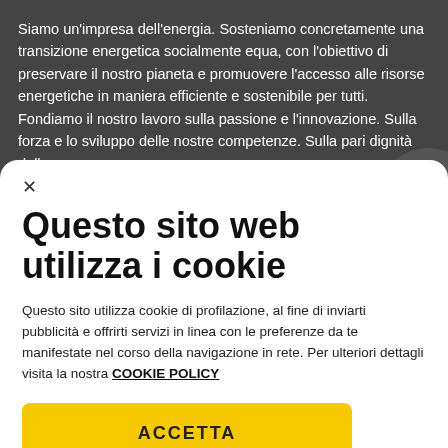Siamo un'impresa dell'energia. Sosteniamo concretamente una transizione energetica socialmente equa, con l'obiettivo di preservare il nostro pianeta e promuovere l'accesso alle risorse energetiche in maniera efficiente e sostenibile per tutti. Fondiamo il nostro lavoro sulla passione e l'innovazione. Sulla forza e lo sviluppo delle nostre competenze. Sulla pari dignità delle
Questo sito web utilizza i cookie
Questo sito utilizza cookie di profilazione, al fine di inviarti pubblicità e offrirti servizi in linea con le preferenze da te manifestate nel corso della navigazione in rete. Per ulteriori dettagli visita la nostra COOKIE POLICY
ACCETTA
Impostazioni cookie